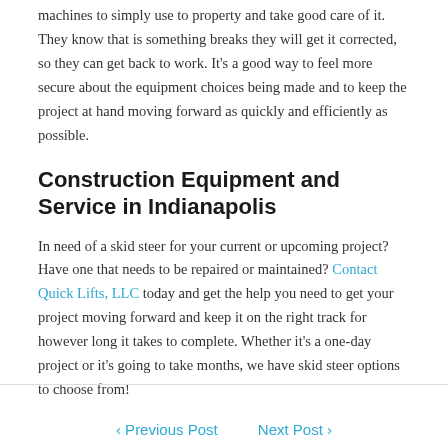machines to simply use to property and take good care of it. They know that is something breaks they will get it corrected, so they can get back to work. It's a good way to feel more secure about the equipment choices being made and to keep the project at hand moving forward as quickly and efficiently as possible.
Construction Equipment and Service in Indianapolis
In need of a skid steer for your current or upcoming project? Have one that needs to be repaired or maintained? Contact Quick Lifts, LLC today and get the help you need to get your project moving forward and keep it on the right track for however long it takes to complete. Whether it's a one-day project or it's going to take months, we have skid steer options to choose from!
< Previous Post   Next Post >